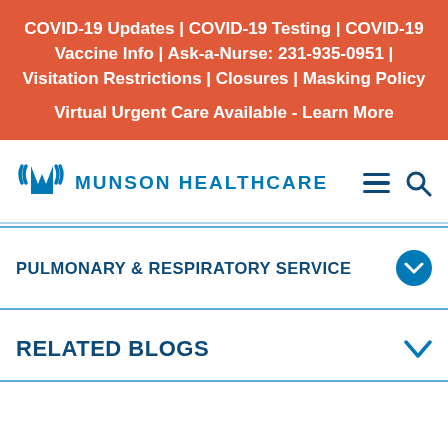COVID-19 Updates | COVID-19 Testing | COVID-19 Vaccine Info | Ask-a-Nurse: 231-935-0951 | Visitation Restrictions | Closures | Masking Policy
Virtual Urgent Care Available - Learn More
[Figure (logo): Munson Healthcare logo with blue stylized M/V icon and text MUNSON HEALTHCARE, with hamburger menu and search icons on the right]
PULMONARY & RESPIRATORY SERVICE
RELATED BLOGS